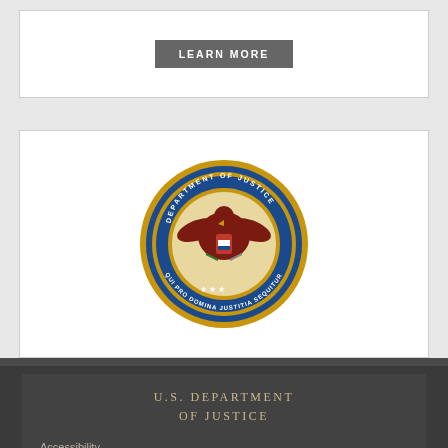[Figure (logo): LEARN MORE button inside a white card border]
[Figure (logo): U.S. Department of Justice official seal - circular gold and blue seal with eagle]
U.S. DEPARTMENT OF JUSTICE
Accessibility
FOIA
Privacy Policy
Legal Policies & Disclaimers
Justice.gov
USA.gov